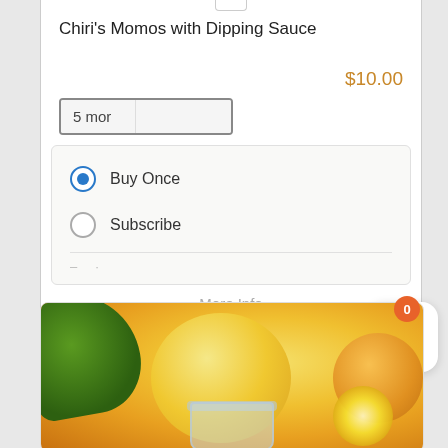Chiri's Momos with Dipping Sauce
$10.00
5 mor
Buy Once
Subscribe
More Info
[Figure (photo): Citrus fruits (lemons/oranges) with green leaves and a glass jar of citrus juice or preserve, blurred background style product photo]